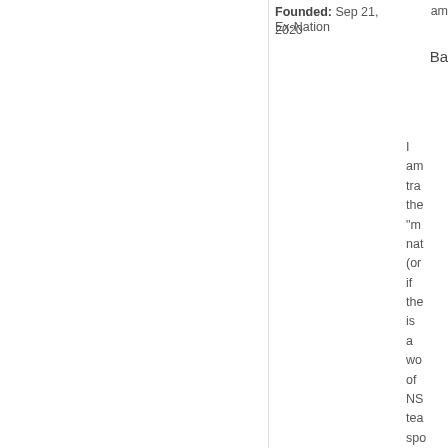Founded: Sep 21, 2020
Ex-Nation
am
Ba
I am tra the "m nat (or if the is a wo of NS tea spo fro Fili to His (f/k His